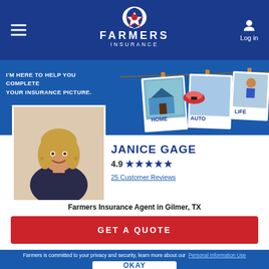[Figure (logo): Farmers Insurance logo with shield emblem, company name in white on dark blue header]
[Figure (illustration): Promotional banner with polaroid-style photos of home, auto, and life insurance scenarios hanging on a clothesline on blue background with text 'I'm here to help you complete your insurance picture.']
[Figure (photo): Headshot photo of Janice Gage, a blonde woman smiling, Farmers Insurance agent]
JANICE GAGE
4.9 ★★★★★
25 Customer Reviews
Farmers Insurance Agent in Gilmer, TX
GET A QUOTE
Farmers is committed to your privacy and security, learn more about our Personal Information Use
OKAY